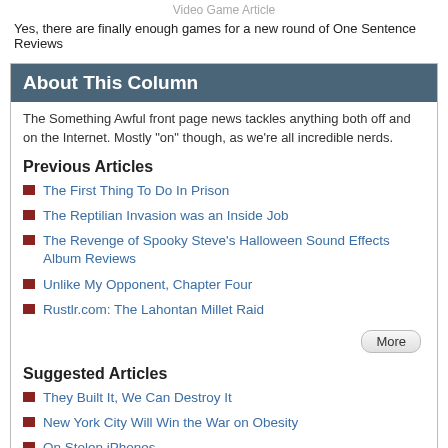Video Game Article
Yes, there are finally enough games for a new round of One Sentence Reviews
About This Column
The Something Awful front page news tackles anything both off and on the Internet. Mostly "on" though, as we're all incredible nerds.
Previous Articles
The First Thing To Do In Prison
The Reptilian Invasion was an Inside Job
The Revenge of Spooky Steve's Halloween Sound Effects Album Reviews
Unlike My Opponent, Chapter Four
Rustlr.com: The Lahontan Millet Raid
Suggested Articles
They Built It, We Can Destroy It
New York City Will Win the War on Obesity
On Stolen iPhones
Upcoming Google Products
Fox on Sex: Ways to Make Oral Sex Amazing